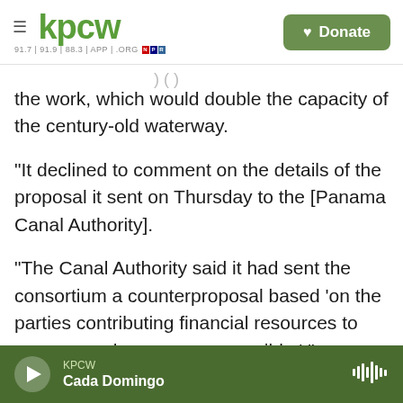KPCW — Donate
the work, which would double the capacity of the century-old waterway.
"It declined to comment on the details of the proposal it sent on Thursday to the [Panama Canal Authority].
"The Canal Authority said it had sent the consortium a counterproposal based 'on the parties contributing financial resources to resume work as soon as possible.' "
Copyright 2021 NPR. To see more, visit
KPCW — Cada Domingo